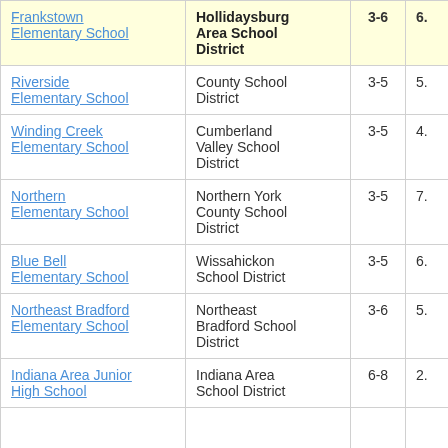| School | District | Grades |  |
| --- | --- | --- | --- |
| Frankstown Elementary School | Hollidaysburg Area School District | 3-6 | 6. |
| Riverside Elementary School | County School District | 3-5 | 5. |
| Winding Creek Elementary School | Cumberland Valley School District | 3-5 | 4. |
| Northern Elementary School | Northern York County School District | 3-5 | 7. |
| Blue Bell Elementary School | Wissahickon School District | 3-5 | 6. |
| Northeast Bradford Elementary School | Northeast Bradford School District | 3-6 | 5. |
| Indiana Area Junior High School | Indiana Area School District | 6-8 | 2. |
| ... | ... |  |  |